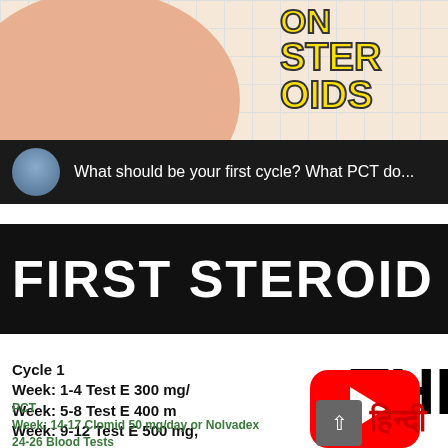[Figure (illustration): Top portion of a comic-style illustration showing a skin-colored body/circle on a grid background with yellow 'ON STEROIDS' text in comic font style]
[Figure (screenshot): Dark YouTube channel banner with circular avatar of a man and text 'What should be your first cycle? What PCT do...']
FIRST STEROID C(YCLE)
Cycle 1
Week: 1-4 Test E 300 mg/
Week: 5-8 Test E 400 m
Week: 9-12 Test E 500 mg,
[Figure (logo): YouTube red play button overlay]
PCT
Week: 14-17 Clomid 50 mg/day or Nolvadex
24-26 Blood Tests
[Figure (other): Scroll up button (grey square with up arrow)]
हिन्दी